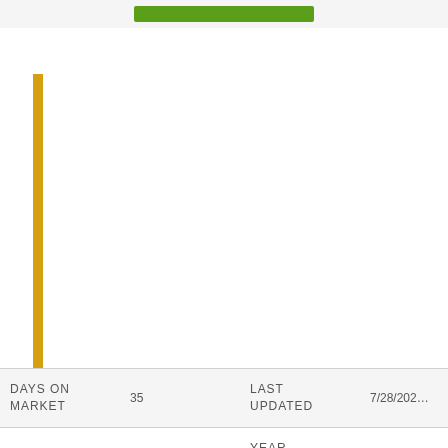[Figure (photo): Partial view of a real estate listing page showing a green button at the top and a yellow vertical bar on the left side of the image area, with white content space]
| Field | Value | Field | Value |
| --- | --- | --- | --- |
| DAYS ON MARKET | 35 | LAST UPDATED | 7/28/202... |
| TRACT | Highlands | YEAR BUILT | 1997 |